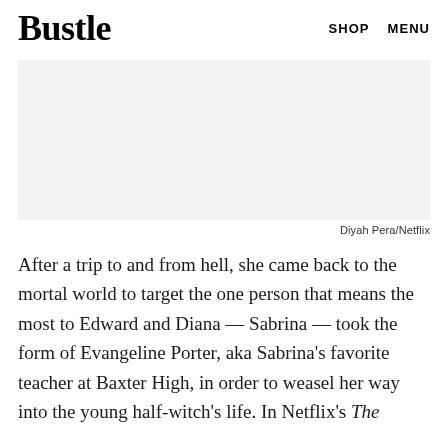Bustle   SHOP   MENU
[Figure (photo): Light gray placeholder image block representing a Netflix/Diyah Pera photo]
Diyah Pera/Netflix
After a trip to and from hell, she came back to the mortal world to target the one person that means the most to Edward and Diana — Sabrina — took the form of Evangeline Porter, aka Sabrina's favorite teacher at Baxter High, in order to weasel her way into the young half-witch's life. In Netflix's The